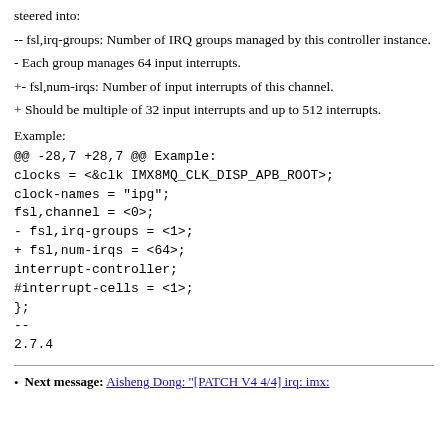steered into:
-- fsl,irq-groups: Number of IRQ groups managed by this controller instance.
- Each group manages 64 input interrupts.
+- fsl,num-irqs: Number of input interrupts of this channel.
+ Should be multiple of 32 input interrupts and up to 512 interrupts.
Example:
@@ -28,7 +28,7 @@ Example:
clocks = <&clk IMX8MQ_CLK_DISP_APB_ROOT>;
clock-names = "ipg";
fsl,channel = <0>;
- fsl,irq-groups = <1>;
+ fsl,num-irqs = <64>;
interrupt-controller;
#interrupt-cells = <1>;
};
--
2.7.4
Next message: Aisheng Dong: "[PATCH V4 4/4] irq: imx: